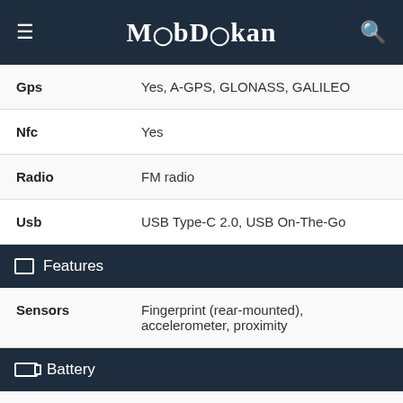MobDokan
| Feature | Value |
| --- | --- |
| Gps | Yes, A-GPS, GLONASS, GALILEO |
| Nfc | Yes |
| Radio | FM radio |
| Usb | USB Type-C 2.0, USB On-The-Go |
Features
| Feature | Value |
| --- | --- |
| Sensors | Fingerprint (rear-mounted), accelerometer, proximity |
Battery
| Feature | Value |
| --- | --- |
| Type | Li-Po 6000 mAh, non-removable |
| Charging | Fast charging 20WReverse charging 2.5W |
Mi...